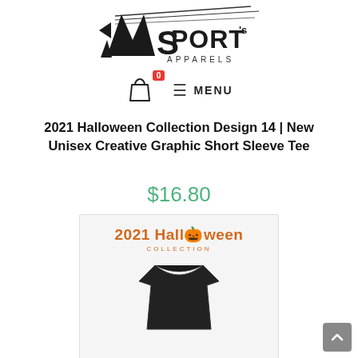[Figure (logo): MoSports Apparels logo with stylized speed-lines and shopping bag with red badge showing 0, and MENU hamburger nav]
2021 Halloween Collection Design 14 | New Unisex Creative Graphic Short Sleeve Tee
$16.80
[Figure (photo): Product image showing a black t-shirt with orange '2021 Halloween Collection' graphic design text on the front]